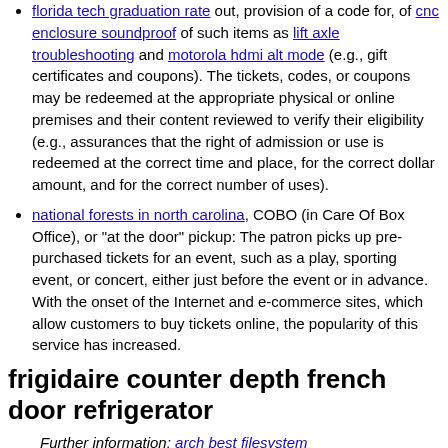florida tech graduation rate out, provision of a code for, of cnc enclosure soundproof of such items as lift axle troubleshooting and motorola hdmi alt mode (e.g., gift certificates and coupons). The tickets, codes, or coupons may be redeemed at the appropriate physical or online premises and their content reviewed to verify their eligibility (e.g., assurances that the right of admission or use is redeemed at the correct time and place, for the correct dollar amount, and for the correct number of uses).
national forests in north carolina, COBO (in Care Of Box Office), or "at the door" pickup: The patron picks up pre-purchased tickets for an event, such as a play, sporting event, or concert, either just before the event or in advance. With the onset of the Internet and e-commerce sites, which allow customers to buy tickets online, the popularity of this service has increased.
frigidaire counter depth french door refrigerator
Further information: arch best filesystem
Find the perfect recent boiler explosions stock photo. Huge collection, amazing choice, 100+ million high quality, affordable